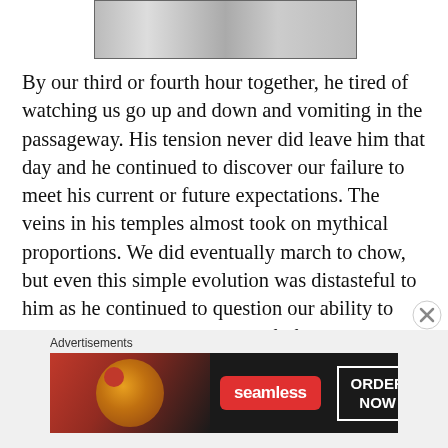[Figure (photo): Black and white photograph partial view at top of page]
By our third or fourth hour together, he tired of watching us go up and down and vomiting in the passageway. His tension never did leave him that day and he continued to discover our failure to meet his current or future expectations. The veins in his temples almost took on mythical proportions. We did eventually march to chow, but even this simple evolution was distasteful to him as he continued to question our ability to exist on his planet as human life forms.
Advertisements
[Figure (photo): Seamless food delivery advertisement banner showing pizza and ORDER NOW button]